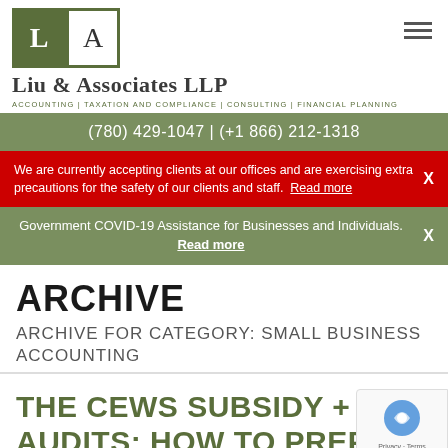[Figure (logo): Liu & Associates LLP logo with L and A boxes, company name and tagline]
(780) 429-1047 | (+1 866) 212-1318
We are currently accepting clients at our offices and are exercising extra precautions for the safety of our clients and staff. Read more
Government COVID-19 Assistance for Businesses and Individuals. Read more
ARCHIVE
ARCHIVE FOR CATEGORY: SMALL BUSINESS ACCOUNTING
THE CEWS SUBSIDY + TAX AUDITS: HOW TO PREPARE